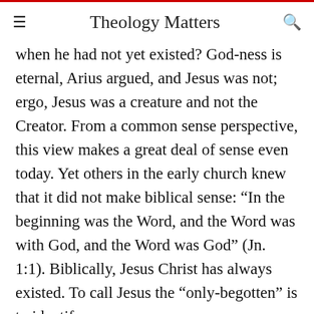Theology Matters
when he had not yet existed? God-ness is eternal, Arius argued, and Jesus was not; ergo, Jesus was a creature and not the Creator. From a common sense perspective, this view makes a great deal of sense even today. Yet others in the early church knew that it did not make biblical sense: “In the beginning was the Word, and the Word was with God, and the Word was God” (Jn. 1:1). Biblically, Jesus Christ has always existed. To call Jesus the “only-begotten” is to identify him...